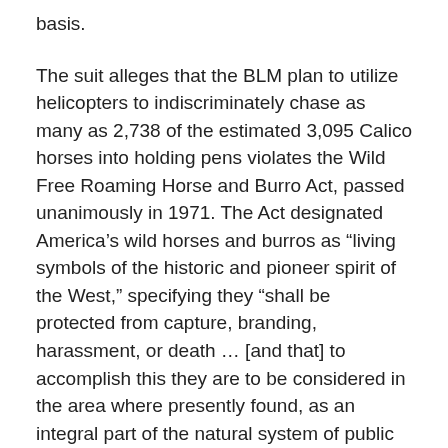basis.
The suit alleges that the BLM plan to utilize helicopters to indiscriminately chase as many as 2,738 of the estimated 3,095 Calico horses into holding pens violates the Wild Free Roaming Horse and Burro Act, passed unanimously in 1971. The Act designated America’s wild horses and burros as “living symbols of the historic and pioneer spirit of the West,” specifying they “shall be protected from capture, branding, harassment, or death … [and that] to accomplish this they are to be considered in the area where presently found, as an integral part of the natural system of public lands.”
“Americans strongly support protecting wild horses on their natural ranges in the West.” Mr. Spriggs continued. “We hope to stop the cruel roundups and mass stockpiling